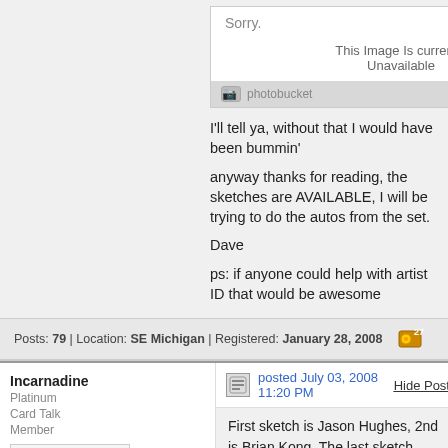[Figure (screenshot): Photobucket placeholder image showing 'Sorry. This Image Is currently Unavailable' with a photobucket logo footer]
I'll tell ya, without that I would have been bummin'
anyway thanks for reading, the sketches are AVAILABLE, I will be trying to do the autos from the set.
Dave
ps: if anyone could help with artist ID that would be awesome
Posts: 79 | Location: SE Michigan | Registered: January 28, 2008
Incarnadine
Platinum Card Talk Member
posted July 03, 2008 11:20 PM
Hide Post
First sketch is Jason Hughes, 2nd is Brian Kong. The last sketch looks like it might be Jim Kyles new signature.
"Man muss entweder der Hammer oder der Amboss sein" (you must be the hammer or the anvil)